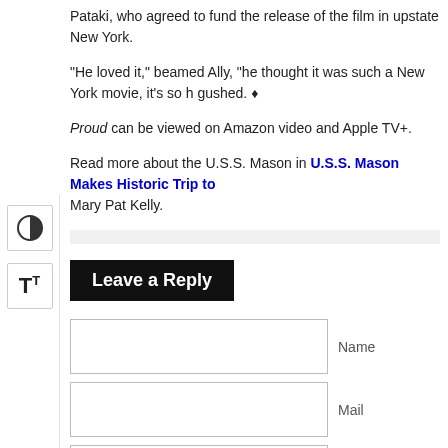Pataki, who agreed to fund the release of the film in upstate New York.
“He loved it,” beamed Ally, “he thought it was such a New York movie, it’s so h gushed. ♦
Proud can be viewed on Amazon video and Apple TV+.
Read more about the U.S.S. Mason in U.S.S. Mason Makes Historic Trip to Mary Pat Kelly.
Leave a Reply
Name
Mail
Website